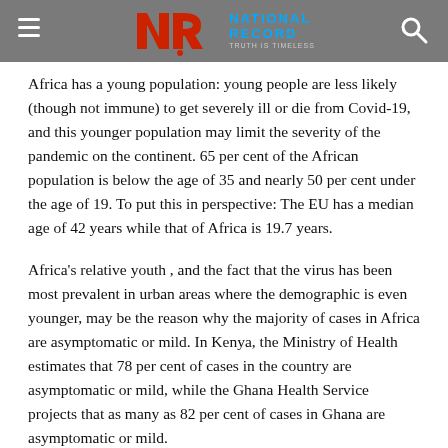National Record
Africa has a young population: young people are less likely (though not immune) to get severely ill or die from Covid-19, and this younger population may limit the severity of the pandemic on the continent. 65 per cent of the African population is below the age of 35 and nearly 50 per cent under the age of 19. To put this in perspective: The EU has a median age of 42 years while that of Africa is 19.7 years.
Africa's relative youth , and the fact that the virus has been most prevalent in urban areas where the demographic is even younger, may be the reason why the majority of cases in Africa are asymptomatic or mild. In Kenya, the Ministry of Health estimates that 78 per cent of cases in the country are asymptomatic or mild, while the Ghana Health Service projects that as many as 82 per cent of cases in Ghana are asymptomatic or mild.
Public policy and health